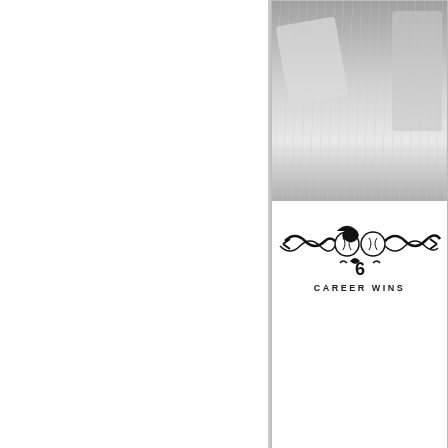[Figure (photo): Topps baseball card top portion showing pitcher uniform close-up with ornamental baseball design, number 6, and text CAREER WINS]
[Figure (photo): Topps Moments & Milestones baseball card for Andy Pettitte, numbered 103/150, showing pitcher in Houston Astros red jersey]